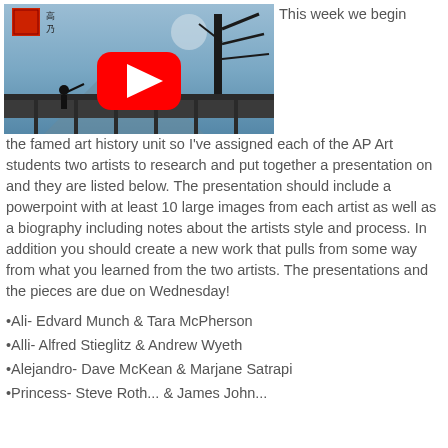[Figure (screenshot): YouTube video thumbnail showing a Japanese woodblock print of figures on a bridge with a tree, with a red YouTube play button overlay and black video bar at bottom]
This week we begin the famed art history unit so I've assigned each of the AP Art students two artists to research and put together a presentation on and they are listed below. The presentation should include a powerpoint with at least 10 large images from each artist as well as a biography including notes about the artists style and process. In addition you should create a new work that pulls from some way from what you learned from the two artists. The presentations and the pieces are due on Wednesday!
•Ali- Edvard Munch & Tara McPherson
•Alli- Alfred Stieglitz & Andrew Wyeth
•Alejandro- Dave McKean & Marjane Satrapi
•Princess- Steve Roth... & James John...